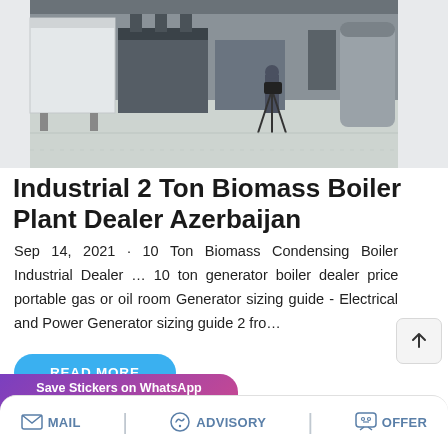[Figure (photo): Industrial boiler plant interior with heavy machinery and a person operating a camera/tripod in the center of the room]
Industrial 2 Ton Biomass Boiler Plant Dealer Azerbaijan
Sep 14, 2021 · 10 Ton Biomass Condensing Boiler Industrial Dealer … 10 ton generator boiler dealer price portable gas or oil room Generator sizing guide - Electrical and Power Generator sizing guide 2 fro…
READ MORE
Save Stickers on WhatsApp
MAIL   ADVISORY   OFFER